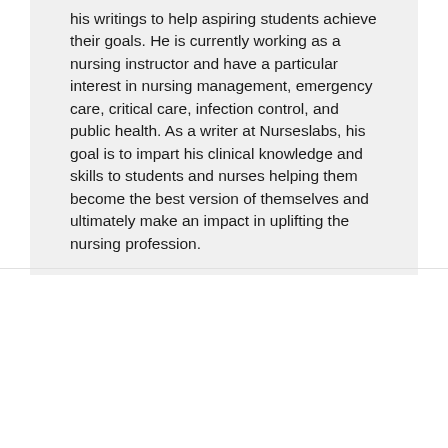his writings to help aspiring students achieve their goals. He is currently working as a nursing instructor and have a particular interest in nursing management, emergency care, critical care, infection control, and public health. As a writer at Nurseslabs, his goal is to impart his clinical knowledge and skills to students and nurses helping them become the best version of themselves and ultimately make an impact in uplifting the nursing profession.